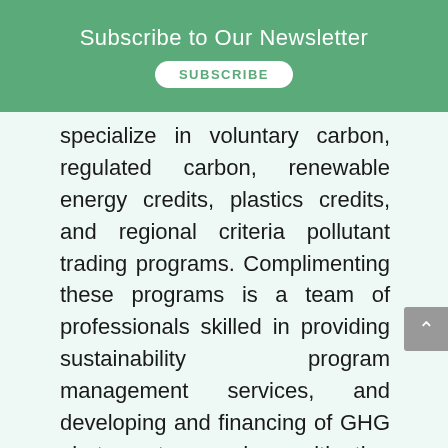Subscribe to Our Newsletter
specialize in voluntary carbon, regulated carbon, renewable energy credits, plastics credits, and regional criteria pollutant trading programs. Complimenting these programs is a team of professionals skilled in providing sustainability program management services, and developing and financing of GHG abatement and mitigation systems.
For more information or to discuss how ClimeCo can drive